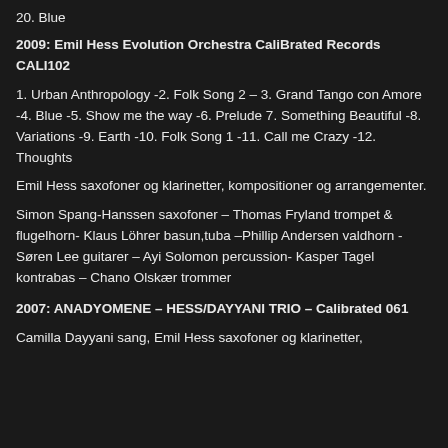20. Blue
2009: Emil Hess Evolution Orchestra CaliBrated Records CALI102
1. Urban Anthropology -2. Folk Song 2 – 3. Grand Tango con Amore -4. Blue -5. Show me the way -6. Prelude 7. Something Beautiful -8. Variations -9. Earth -10. Folk Song 1 -11. Call me Crazy -12. Thoughts
Emil Hess saxofoner og klarinetter, kompositioner og arrangementer.
Simon Spang-Hanssen saxofoner – Thomas Fryland trompet & flugelhorn- Klaus Löhrer basun,tuba –Phillip Andersen valdhorn - Søren Lee guitarer – Ayi Solomon percussion- Kasper Tagel kontrabas – Chano Olskær trommer
2007: ANADYOMENE – HESS/DAYYANI TRIO – Calibrated 061
Camilla Dayyani sang, Emil Hess saxofoner og klarinetter,